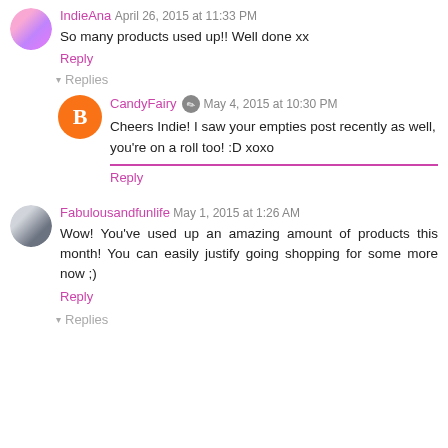IndieAna April 26, 2015 at 11:33 PM
So many products used up!! Well done xx
Reply
Replies
CandyFairy May 4, 2015 at 10:30 PM
Cheers Indie! I saw your empties post recently as well, you're on a roll too! :D xoxo
Reply
Fabulousandfunlife May 1, 2015 at 1:26 AM
Wow! You've used up an amazing amount of products this month! You can easily justify going shopping for some more now ;)
Reply
Replies